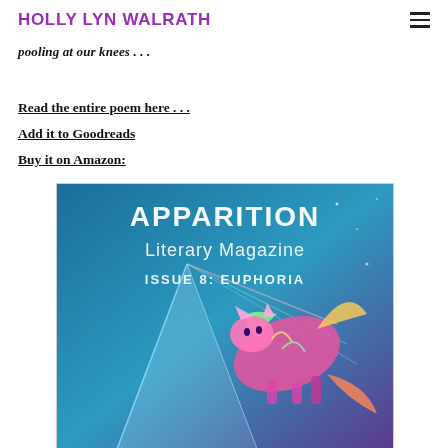HOLLY LYN WALRATH
pooling at our knees . . .
Read the entire poem here . . .
Add it to Goodreads
Buy it on Amazon:
[Figure (illustration): Cover of Apparition Literary Magazine, Issue 8: Euphoria. Teal/blue background with colorful stylized animal figure. Text reads APPARITION Literary Magazine ISSUE 8: EUPHORIA.]